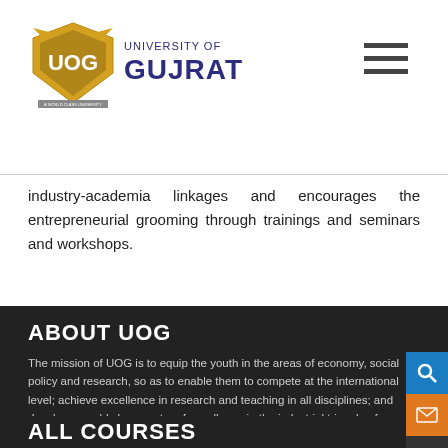University of Gujrat
industry-academia linkages and encourages the entrepreneurial grooming through trainings and seminars and workshops.
ABOUT UOG
The mission of UOG is to equip the youth in the areas of economy, social policy and research, so as to enable them to compete at the international level; achieve excellence in research and teaching in all disciplines; and develop a world class centre of excellence in the industrial triangle of Gujranwala.
ALL COURSES